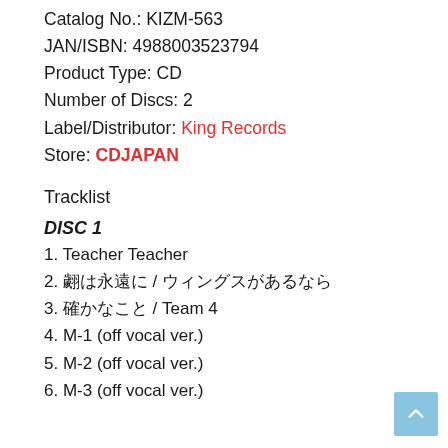Catalog No.: KIZM-563
JAN/ISBN: 4988003523794
Product Type: CD
Number of Discs: 2
Label/Distributor: King Records
Store: CDJAPAN
Tracklist
DISC 1
1. Teacher Teacher
2. ／
3.  / Team 4
4. M-1 (off vocal ver.)
5. M-2 (off vocal ver.)
6. M-3 (off vocal ver.)